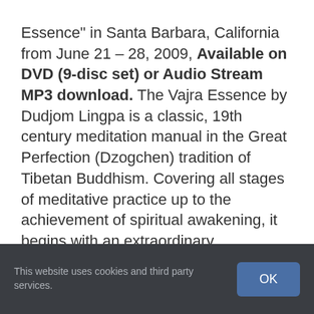Essence" in Santa Barbara, California from June 21 – 28, 2009, Available on DVD (9-disc set) or Audio Stream MP3 download. The Vajra Essence by Dudjom Lingpa is a classic, 19th century meditation manual in the Great Perfection (Dzogchen) tradition of Tibetan Buddhism. Covering all stages of meditative practice up to the achievement of spiritual awakening, it begins with an extraordinary presentation of the shamatha practice of "settling the mind in its natural state." In this week long retreat, B. Alan Wallace offers
This website uses cookies and third party services.